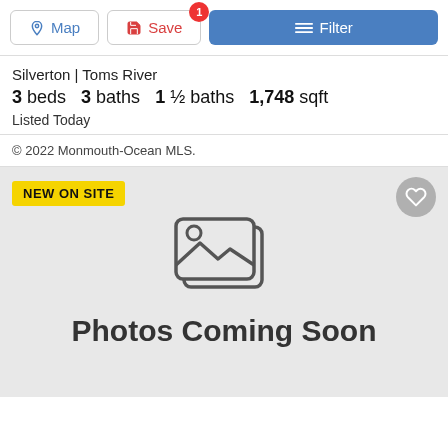Map | Save | Filter
Silverton | Toms River
3 beds   3 baths   1 ½ baths   1,748 sqft
Listed Today
© 2022 Monmouth-Ocean MLS.
[Figure (photo): Real estate listing card showing 'NEW ON SITE' badge, a heart/favorite button, a placeholder image icon, and the text 'Photos Coming Soon' on a grey background.]